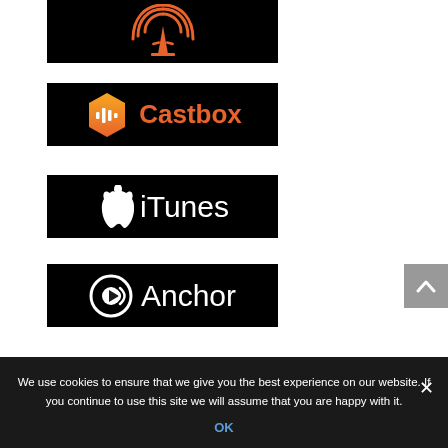[Figure (logo): Podcast app logo — orange radio tower icon on black background]
[Figure (logo): Castbox logo — orange hexagon icon with audio bars and 'Castbox' text in orange on black background]
[Figure (logo): iTunes logo — white Apple logo and 'iTunes' text on black background]
[Figure (logo): Anchor logo — white circle with arrow and radio waves icon, 'Anchor' text in white on black background]
We use cookies to ensure that we give you the best experience on our website. If you continue to use this site we will assume that you are happy with it.
OK